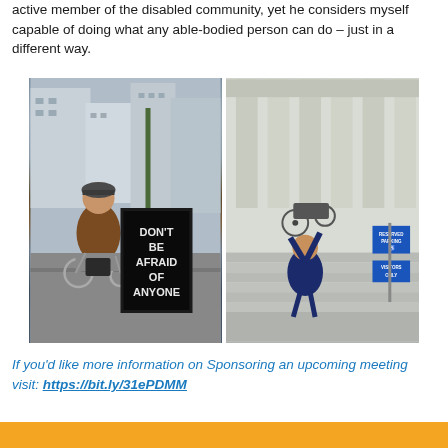active member of the disabled community, yet he considers myself capable of doing what any able-bodied person can do – just in a different way.
[Figure (photo): Two side-by-side photographs. Left: A man in a wheelchair on a city street next to a sign reading 'DON'T BE AFRAID OF ANYONE'. Right: A person carrying a wheelchair up stone steps of a classical building, with a Reserved Parking (handicap) sign and Visitors Only sign visible.]
If you'd like more information on Sponsoring an upcoming meeting visit: https://bit.ly/31ePDMM